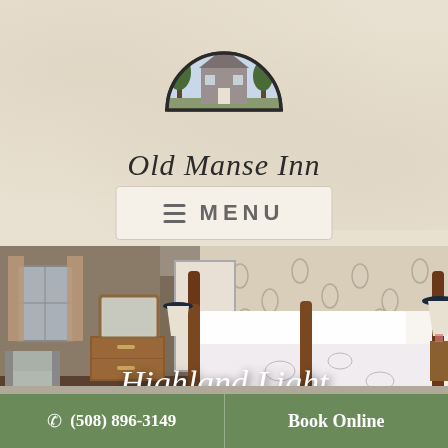[Figure (logo): Old Manse Inn logo: illustrated building inside a semicircle with trees]
Old Manse Inn
≡  MENU
[Figure (photo): Hotel room interior showing four-poster bed with white linens, floral wallpaper, antique dresser with mirror, light gray armchair, hardwood floors, and curtained windows. Text overlay reads 'Highland Light'.]
Highland Light
☎  (508) 896-3149    Book Online